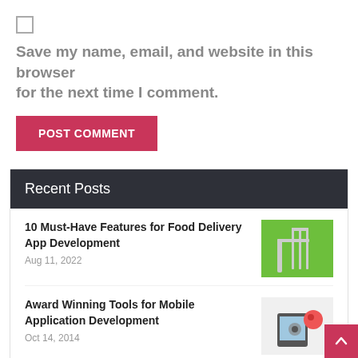Save my name, email, and website in this browser for the next time I comment.
POST COMMENT
Recent Posts
10 Must-Have Features for Food Delivery App Development
Aug 11, 2022
Award Winning Tools for Mobile Application Development
Oct 14, 2014
SQLite Database used in Android